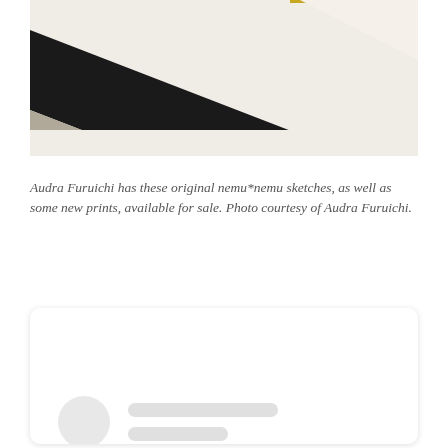[Figure (photo): Partial view of abstract geometric artwork with diagonal black band, white/cream background, gold/yellow rectangular outline partially visible at top, and silver/gray diagonal stripe]
Audra Furuichi has these original nemu*nemu sketches, as well as some new prints, available for sale. Photo courtesy of Audra Furuichi.
[Figure (other): Social media embed card placeholder with rounded rectangle border, loading skeleton UI showing a circle avatar placeholder and two rectangular line placeholders]